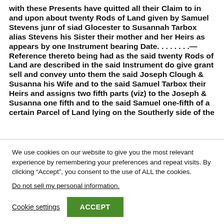with these Presents have quitted all their Claim to in and upon about twenty Rods of Land given by Samuel Stevens junr of siad Glocester to Susannah Tarbox alias Stevens his Sister their mother and her Heirs as appears by one Instrument bearing Date. . . . . . . .—Reference thereto being had as the said twenty Rods of Land are described in the said Instrument do give grant sell and convey unto them the said Joseph Clough & Susanna his Wife and to the said Samuel Tarbox their Heirs and assigns two fifth parts (viz) to the Joseph & Susanna one fifth and to the said Samuel one-fifth of a certain Parcel of Land lying on the Southerly side of the
We use cookies on our website to give you the most relevant experience by remembering your preferences and repeat visits. By clicking “Accept”, you consent to the use of ALL the cookies.
Do not sell my personal information.
Cookie settings
ACCEPT